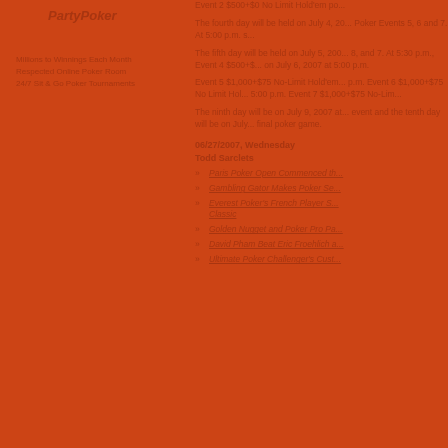PartyPoker
Millions to Winnings Each Month
Respected Online Poker Room
24/7 Sit & Go Poker Tournaments
Event 2 $500+$0 No Limit Hold'em po...
The fourth day will be held on July 4, 20... Poker Events 5, 6 and 7. At 5:00 p.m. s...
The fifth day will be held on July 5, 200... 8, and 7. At 5:30 p.m., Event 4 $500+$... on July 6, 2007 at 5:00 p.m.
Event 5 $1,000+$75 No-Limit Hold'em... p.m. Event 6 $1,000+$75 No Limit Hol... 5:00 p.m. Event 7 $1,000+$75 No-Lim...
The ninth day will be on July 9, 2007 at... event and the tenth day will be on July... final poker game.
06/27/2007, Wednesday
Todd Sarclets
Paris Poker Open Commenced th...
Gambling Gator Makes Poker Se...
Everest Poker's French Player S... Classic
Golden Nugget and Poker Pro Pa...
David Pham Beat Eric Froehlich a...
Ultimate Poker Challenger's Cust...